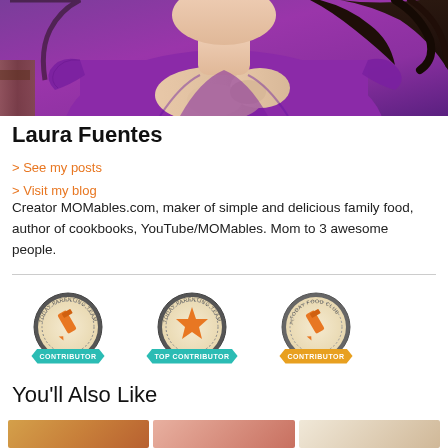[Figure (photo): Photo of Laura Fuentes wearing a purple blouse with lace short sleeves, dark curly hair, upper body visible]
Laura Fuentes
> See my posts
> Visit my blog
Creator MOMables.com, maker of simple and delicious family food, author of cookbooks, YouTube/MOMables. Mom to 3 awesome people.
[Figure (illustration): Three badges: Today Parenting Team Contributor (teal ribbon, pencil icon), Today Parenting Team Top Contributor (teal ribbon, star icon), Today Food Club Contributor (gold ribbon, pencil icon)]
You'll Also Like
[Figure (photo): Thumbnail of food dish 1]
[Figure (photo): Thumbnail of food dish 2]
[Figure (photo): Thumbnail of food dish 3]